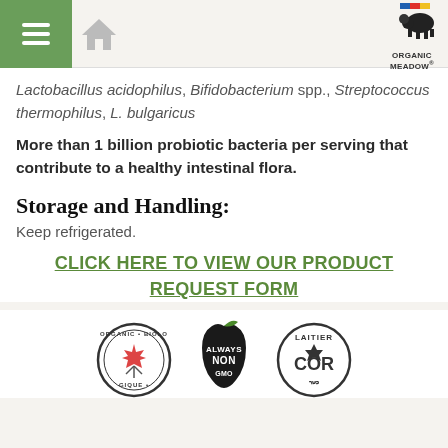Organic Meadow - navigation header
Lactobacillus acidophilus, Bifidobacterium spp., Streptococcus thermophilus, L. bulgaricus
More than 1 billion probiotic bacteria per serving that contribute to a healthy intestinal flora.
Storage and Handling:
Keep refrigerated.
CLICK HERE TO VIEW OUR PRODUCT REQUEST FORM
[Figure (logo): Three certification badges: Organic/Biologique Canada, Always Non (GMO leaf), and Laitier COR certification]
[Figure (logo): Organic Meadow logo in top right corner]